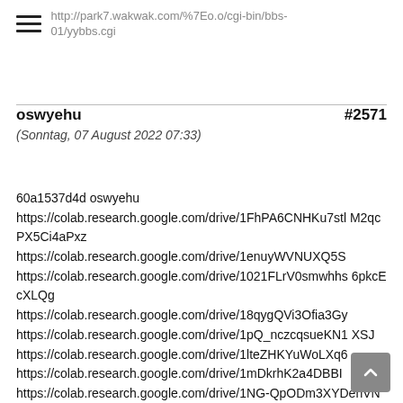http://park7.wakwak.com/%7Eo.o/cgi-bin/bbs-01/yybbs.cgi
oswyehu #2571
(Sonntag, 07 August 2022 07:33)

60a1537d4d oswyehu
https://colab.research.google.com/drive/1FhPA6CNHKu7stl M2qcPX5Ci4aPxz
https://colab.research.google.com/drive/1enuyWVNUXQ5S
https://colab.research.google.com/drive/1021FLrV0smwhhs 6pkcEcXLQg
https://colab.research.google.com/drive/18qygQVi3Ofia3Gy
https://colab.research.google.com/drive/1pQ_nczcqsueKN1 XSJ
https://colab.research.google.com/drive/1lteZHKYuWoLXq6
https://colab.research.google.com/drive/1mDkrhK2a4DBBI
https://colab.research.google.com/drive/1NG-QpODm3XYDenVNHACIwrojUPJOqzLy